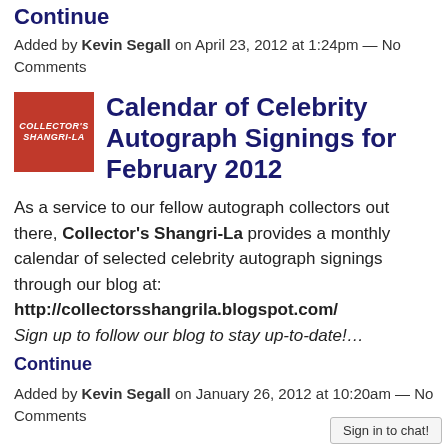Continue
Added by Kevin Segall on April 23, 2012 at 1:24pm — No Comments
Calendar of Celebrity Autograph Signings for February 2012
As a service to our fellow autograph collectors out there, Collector's Shangri-La provides a monthly calendar of selected celebrity autograph signings through our blog at: http://collectorsshangrila.blogspot.com/ Sign up to follow our blog to stay up-to-date!…
Continue
Added by Kevin Segall on January 26, 2012 at 10:20am — No Comments